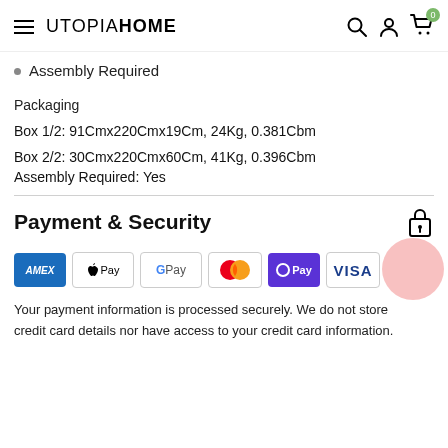UTOPIAHOME
Assembly Required
Packaging
Box 1/2: 91Cmx220Cmx19Cm, 24Kg, 0.381Cbm
Box 2/2: 30Cmx220Cmx60Cm, 41Kg, 0.396Cbm
Assembly Required: Yes
Payment & Security
[Figure (logo): Payment method logos: American Express, Apple Pay, Google Pay, Mastercard, OPay, Visa]
Your payment information is processed securely. We do not store credit card details nor have access to your credit card information.